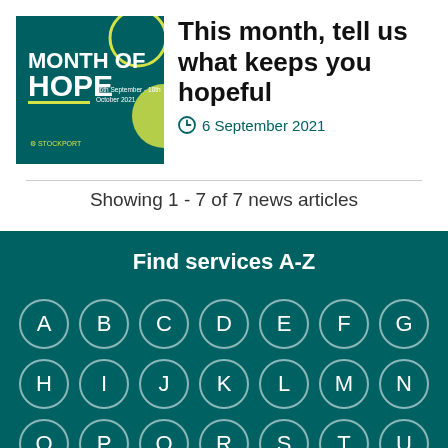[Figure (illustration): Month of Hope promotional image with teal/dark green background, yellow circle, text reading MONTH OF HOPE, 16th September - 18th October 2021, Stockport logo]
This month, tell us what keeps you hopeful
6 September 2021
Showing 1 - 7 of 7 news articles
Find services A-Z
A
B
C
D
E
F
G
H
I
J
K
L
M
N
O
P
Q
R
S
T
U